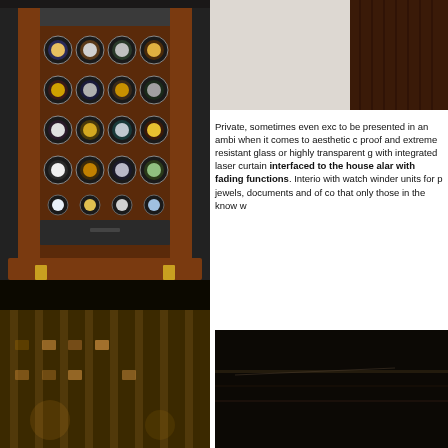[Figure (photo): Luxury watch winder cabinet with wooden frame and multiple watch compartments, photographed in a grand interior space with glass ceiling]
[Figure (photo): Night photograph of an ornate historical building facade lit with warm golden light]
[Figure (photo): Partial view of a dark wooden luxury cabinet or safe, cropped at top right corner of page]
Private, sometimes even exc to be presented in an ambia when it comes to aesthetic c proof and extreme resistant glass or highly transparent g with integrated laser curtain interfaced to the house alar with fading functions. Interio with watch winder units for p jewels, documents and of co that only those in the know w
[Figure (photo): Close-up detail of dark luxury safe or cabinet interior showing leather or dark material texture]